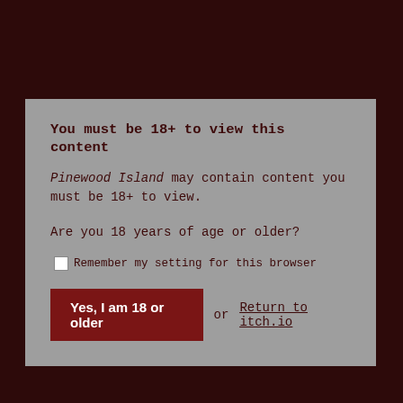You must be 18+ to view this content
Pinewood Island may contain content you must be 18+ to view.
Are you 18 years of age or older?
Remember my setting for this browser
Yes, I am 18 or older
or Return to itch.io